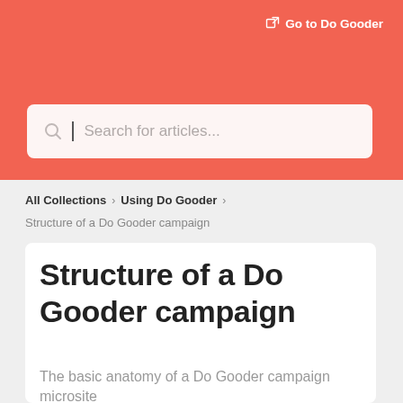Go to Do Gooder
Search for articles...
All Collections > Using Do Gooder
Structure of a Do Gooder campaign
Structure of a Do Gooder campaign
The basic anatomy of a Do Gooder campaign microsite